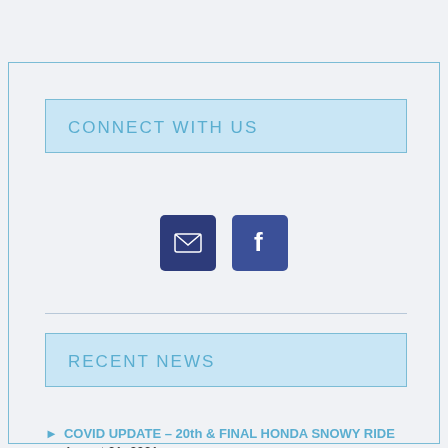CONNECT WITH US
[Figure (infographic): Two icon buttons: an email/envelope icon and a Facebook icon, both dark navy blue rounded squares]
RECENT NEWS
COVID UPDATE – 20th & FINAL HONDA SNOWY RIDE August 21, 2021